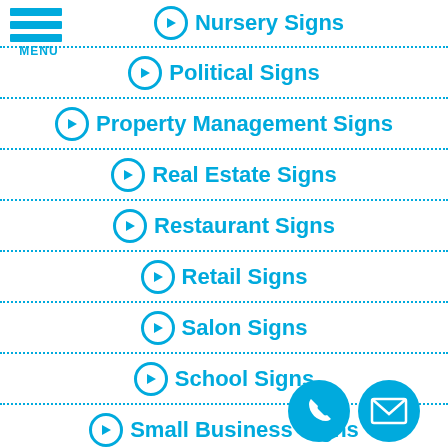[Figure (logo): Hamburger menu icon with three horizontal blue bars and MENU text below]
Nursery Signs
Political Signs
Property Management Signs
Real Estate Signs
Restaurant Signs
Retail Signs
Salon Signs
School Signs
Small Business Signs
[Figure (illustration): Blue circle phone icon button]
[Figure (illustration): Blue circle mail/envelope icon button]